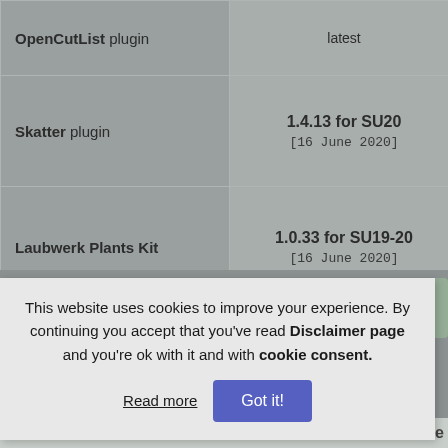| Plugin | Version |  |
| --- | --- | --- |
| OpenCutList plugin | latest | . |
| Skatter plugin | 1.4.13 for SU20
[16 June 2020] | ! |
| Laubwerk Plants Kit | 1.0.33 for SU19-20
[16 June 2020] | ! |
This website uses cookies to improve your experience. By continuing you accept that you've read Disclaimer page and you're ok with it and with cookie consent.
Read more  Got it!